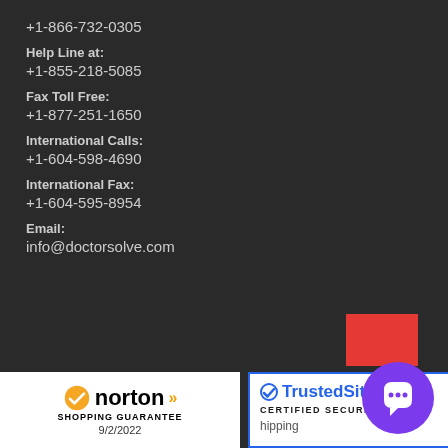+1-866-732-0305
Help Line at:
+1-855-218-5085
Fax Toll Free:
+1-877-251-1650
International Calls:
+1-604-598-4690
International Fax:
+1-604-595-8954
Email:
info@doctorsolve.com
Shipping
[Figure (logo): Norton Shopping Guarantee badge with checkmark, date 9/2/2022]
[Figure (logo): TrustedSite Certified Secure badge with shipping text]
[Figure (other): Purple chat bubble icon with speech bubble symbol, with red rectangle overlay]